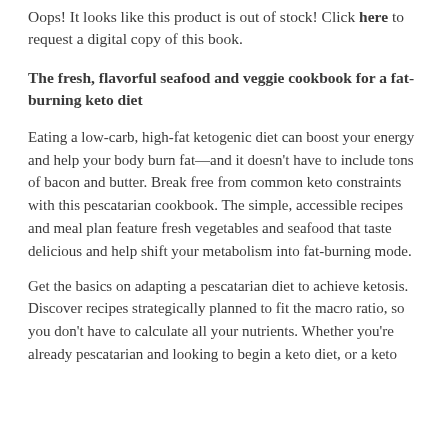Oops! It looks like this product is out of stock! Click here to request a digital copy of this book.
The fresh, flavorful seafood and veggie cookbook for a fat-burning keto diet
Eating a low-carb, high-fat ketogenic diet can boost your energy and help your body burn fat—and it doesn't have to include tons of bacon and butter. Break free from common keto constraints with this pescatarian cookbook. The simple, accessible recipes and meal plan feature fresh vegetables and seafood that taste delicious and help shift your metabolism into fat-burning mode.
Get the basics on adapting a pescatarian diet to achieve ketosis. Discover recipes strategically planned to fit the macro ratio, so you don't have to calculate all your nutrients. Whether you're already pescatarian and looking to begin a keto diet, or a keto enthusiast looking to transition to a plant-based diet,